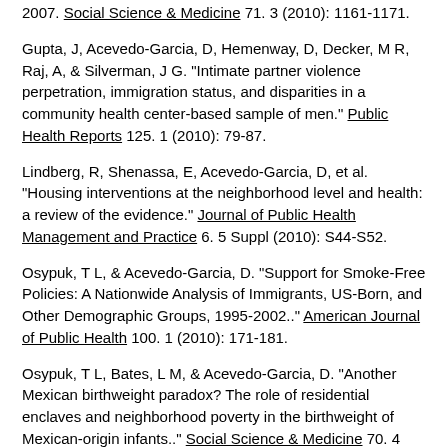2007. Social Science & Medicine 71. 3 (2010): 1161-1171.
Gupta, J, Acevedo-Garcia, D, Hemenway, D, Decker, M R, Raj, A, & Silverman, J G. "Intimate partner violence perpetration, immigration status, and disparities in a community health center-based sample of men." Public Health Reports 125. 1 (2010): 79-87.
Lindberg, R, Shenassa, E, Acevedo-Garcia, D, et al. "Housing interventions at the neighborhood level and health: a review of the evidence." Journal of Public Health Management and Practice 6. 5 Suppl (2010): S44-S52.
Osypuk, T L, & Acevedo-Garcia, D. "Support for Smoke-Free Policies: A Nationwide Analysis of Immigrants, US-Born, and Other Demographic Groups, 1995-2002.." American Journal of Public Health 100. 1 (2010): 171-181.
Osypuk, T L, Bates, L M, & Acevedo-Garcia, D. "Another Mexican birthweight paradox? The role of residential enclaves and neighborhood poverty in the birthweight of Mexican-origin infants.." Social Science & Medicine 70. 4 (2010): 550-560.
Osypuk, TL and Acevedo-Garcia, D. "Beyond individual neighborhoods: A geography of opportunity perspective for understanding racial/ethnic